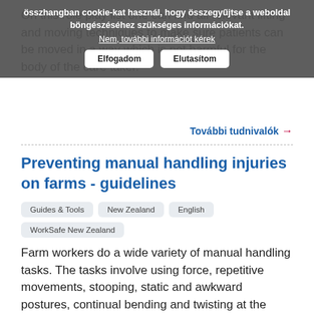összhangban cookie-kat használ, hogy összegyűjtse a weboldal böngészéséhez szükséges információkat.
Nem, további információt kérek
Elfogadom | Elutasítom
On this role play list one can find all relevant lifting and moving techniques to make sure patients can be moved in a way which is not harmful for the body of the care taker.
További tudnivalók →
Preventing manual handling injuries on farms - guidelines
Guides & Tools
New Zealand
English
WorkSafe New Zealand
Farm workers do a wide variety of manual handling tasks. The tasks involve using force, repetitive movements, stooping, static and awkward postures, continual bending and twisting at the